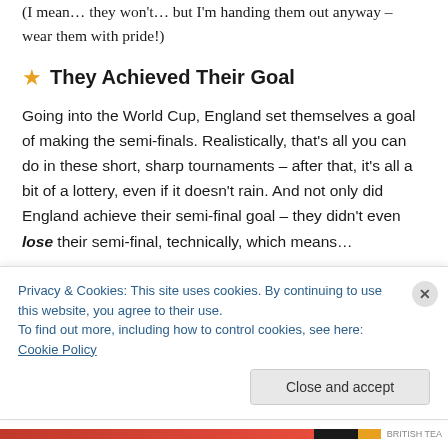(I mean… they won't… but I'm handing them out anyway – wear them with pride!)
⭐ They Achieved Their Goal
Going into the World Cup, England set themselves a goal of making the semi-finals. Realistically, that's all you can do in these short, sharp tournaments – after that, it's all a bit of a lottery, even if it doesn't rain. And not only did England achieve their semi-final goal – they didn't even lose their semi-final, technically, which means…
⭐ They Only Lost One
Privacy & Cookies: This site uses cookies. By continuing to use this website, you agree to their use.
To find out more, including how to control cookies, see here: Cookie Policy